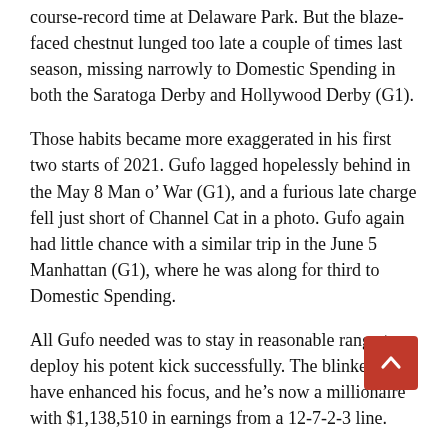course-record time at Delaware Park. But the blaze-faced chestnut lunged too late a couple of times last season, missing narrowly to Domestic Spending in both the Saratoga Derby and Hollywood Derby (G1).
Those habits became more exaggerated in his first two starts of 2021. Gufo lagged hopelessly behind in the May 8 Man o’ War (G1), and a furious late charge fell just short of Channel Cat in a photo. Gufo again had little chance with a similar trip in the June 5 Manhattan (G1), where he was along for third to Domestic Spending.
All Gufo needed was to stay in reasonable range to deploy his potent kick successfully. The blinkers have enhanced his focus, and he’s now a millionaire with $1,138,510 in earnings from a 12-7-2-3 line.
Clement isn’t as inclined to credit the 1 1/2-mile factor.
“I am delighted with this horse and the way he ran today,” the